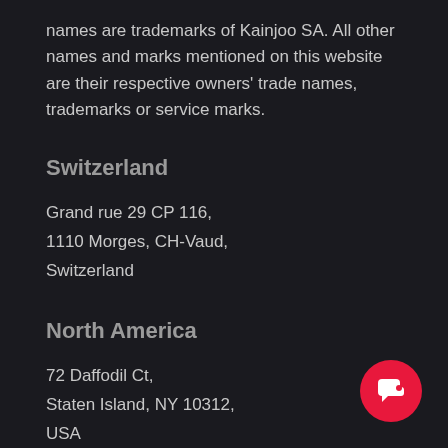names are trademarks of Kainjoo SA. All other names and marks mentioned on this website are their respective owners' trade names, trademarks or service marks.
Switzerland
Grand rue 29 CP 116,
1110 Morges, CH-Vaud,
Switzerland
North America
72 Daffodil Ct,
Staten Island, NY 10312,
USA
[Figure (illustration): Pink circular chat button with a speech bubble icon in the bottom right corner]